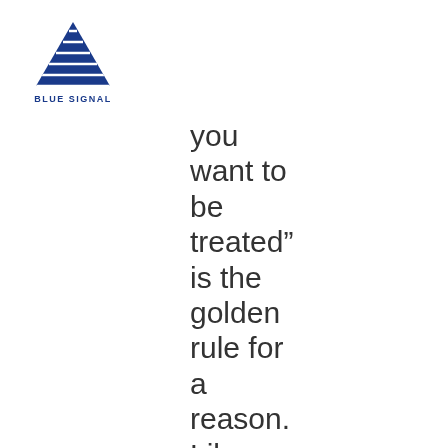[Figure (logo): Blue Signal logo: blue triangle/mountain shape with horizontal lines, with text BLUE SIGNAL below in dark blue bold letters]
you want to be treated” is the golden rule for a reason. Like anyone, recruiters want to work